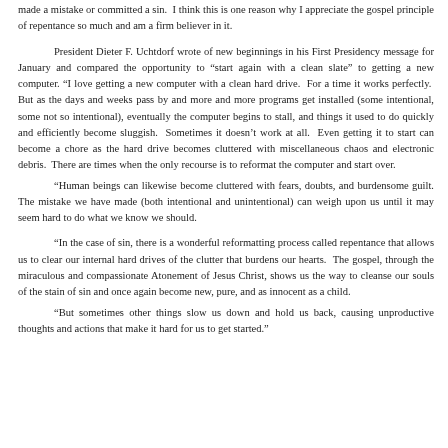made a mistake or committed a sin.  I think this is one reason why I appreciate the gospel principle of repentance so much and am a firm believer in it.
President Dieter F. Uchtdorf wrote of new beginnings in his First Presidency message for January and compared the opportunity to “start again with a clean slate” to getting a new computer. “I love getting a new computer with a clean hard drive.  For a time it works perfectly.  But as the days and weeks pass by and more and more programs get installed (some intentional, some not so intentional), eventually the computer begins to stall, and things it used to do quickly and efficiently become sluggish.  Sometimes it doesn’t work at all.  Even getting it to start can become a chore as the hard drive becomes cluttered with miscellaneous chaos and electronic debris.  There are times when the only recourse is to reformat the computer and start over.
“Human beings can likewise become cluttered with fears, doubts, and burdensome guilt. The mistake we have made (both intentional and unintentional) can weigh upon us until it may seem hard to do what we know we should.
“In the case of sin, there is a wonderful reformatting process called repentance that allows us to clear our internal hard drives of the clutter that burdens our hearts.  The gospel, through the miraculous and compassionate Atonement of Jesus Christ, shows us the way to cleanse our souls of the stain of sin and once again become new, pure, and as innocent as a child.
“But sometimes other things slow us down and hold us back, causing unproductive thoughts and actions that make it hard for us to get started.”